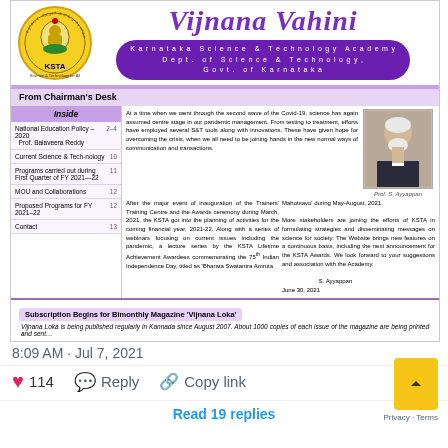[Figure (screenshot): Screenshot of a Twitter/social media post showing the Vijnana Vahini newsletter from Karnataka Science & Technology Academy (KSTA). The newsletter features a header with KSTA logo, title 'Vijnana Vahini', subtitle 'Karnataka Science & Technology Academy Dept. of Science & Technology, Govt. of Karnataka'. Contains 'From Chairman's Desk' section with text by Prof. S. Ayyappan, a sidebar with table of contents, and a bottom section about 'Subscription Begins for Bimonthly Magazine Vijnana Loka'. Posted at 8:09 AM Jul 7, 2021 with 114 likes.]
8:09 AM · Jul 7, 2021
114  Reply  Copy link
Read 19 replies